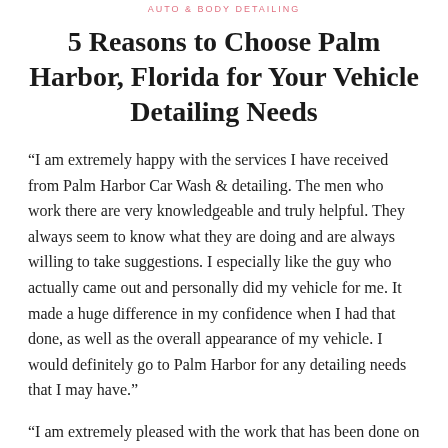AUTO & BODY DETAILING
5 Reasons to Choose Palm Harbor, Florida for Your Vehicle Detailing Needs
“I am extremely happy with the services I have received from Palm Harbor Car Wash & detailing. The men who work there are very knowledgeable and truly helpful. They always seem to know what they are doing and are always willing to take suggestions. I especially like the guy who actually came out and personally did my vehicle for me. It made a huge difference in my confidence when I had that done, as well as the overall appearance of my vehicle. I would definitely go to Palm Harbor for any detailing needs that I may have.”
“I am extremely pleased with the work that has been done on my vehicle. The employees at Palm